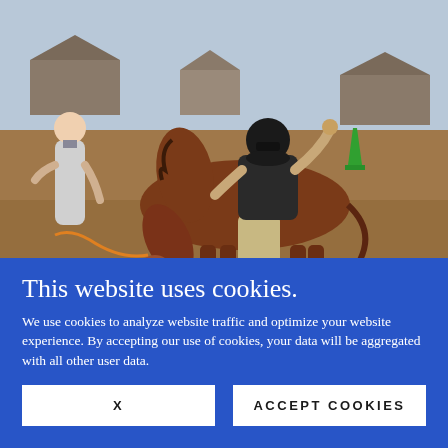[Figure (photo): A person wearing a black helmet and sunglasses sitting on a chestnut horse with fist raised, accompanied by a woman holding the horse's lead rope in an outdoor dirt arena with orange and green traffic cones visible in the background.]
This website uses cookies.
We use cookies to analyze website traffic and optimize your website experience. By accepting our use of cookies, your data will be aggregated with all other user data.
X
ACCEPT COOKIES